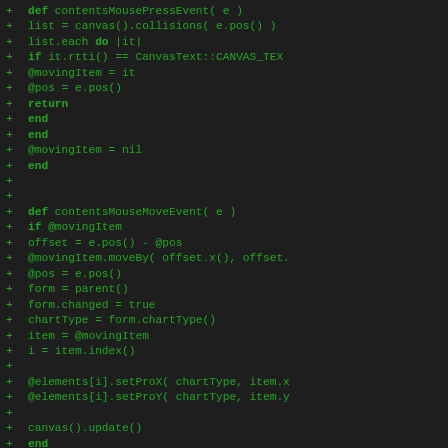[Figure (screenshot): Code diff screenshot showing Ruby code with green '+' diff markers on dark background. Methods contentsMousePressEvent and contentsMouseMoveEvent are shown with added lines.]